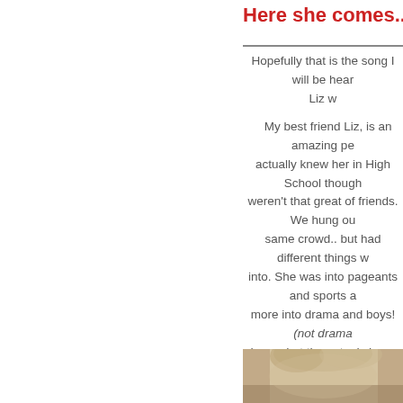Here she comes... Mrs. Americ
Hopefully that is the song I will be hear
Liz w
My best friend Liz, is an amazing pe... actually knew her in High School though, weren't that great of friends. We hung ou... same crowd.. but had different things w... into. She was into pageants and sports a... more into drama and boys! (not drama boys.. but the actual class.. drama and plays etc.. and then I liked boys too! jus... clarify that...)
But years later.. we met again and ins... reconnected.. our kids are close and we... enough that our husbands are best frie... miss her though, since we moved.. I h... seen her. This year she competed in t... stage of pageantry competitions, Mrs. Io... for married women and the last pageant... compete in. So she competed back in M...
[Figure (photo): Photo of a woman with blonde hair, cropped at bottom of page]